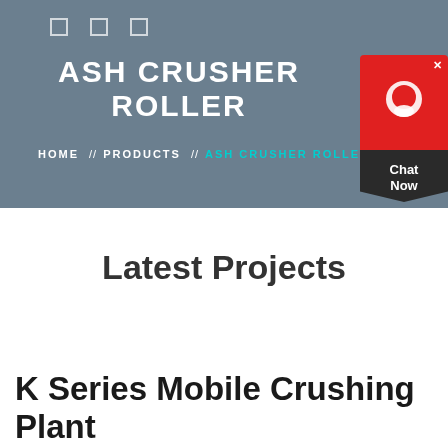ASH CRUSHER ROLLER
HOME // PRODUCTS // ASH CRUSHER ROLLER
Latest Projects
K Series Mobile Crushing Plant